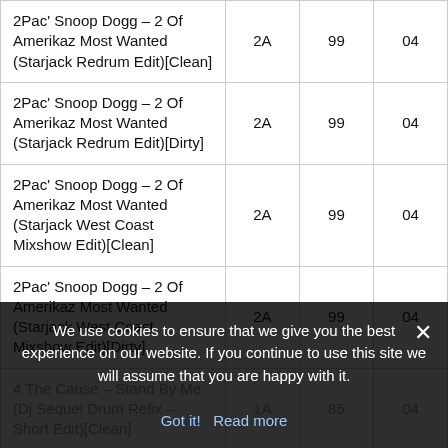| Track | Key | BPM |  |
| --- | --- | --- | --- |
| 2Pac' Snoop Dogg – 2 Of Amerikaz Most Wanted (Starjack Redrum Edit)[Clean] | 2A | 99 | 04 |
| 2Pac' Snoop Dogg – 2 Of Amerikaz Most Wanted (Starjack Redrum Edit)[Dirty] | 2A | 99 | 04 |
| 2Pac' Snoop Dogg – 2 Of Amerikaz Most Wanted (Starjack West Coast Mixshow Edit)[Clean] | 2A | 99 | 04 |
| 2Pac' Snoop Dogg – 2 Of Amerikaz Most Wanted (Starjack West Coast Mixshow Edit)[Dirty] | 2A | 99 | 04 |
| 4 The Cause – Stand By Me (Dj Sequel Drum Refix – Short Edit)[Clean] | 1A | 85 | 04 |
| 4 The Cause – Stand By Me (Dj Sequel Drum Refix)[Dirty] | 1A | 85 | 04 |
| 42 Dugg – Sco (Intro) | 5A | 84 | 01 |
We use cookies to ensure that we give you the best experience on our website. If you continue to use this site we will assume that you are happy with it.